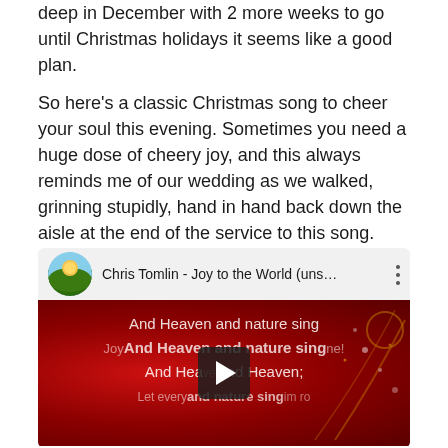deep in December with 2 more weeks to go until Christmas holidays it seems like a good plan.
So here's a classic Christmas song to cheer your soul this evening. Sometimes you need a huge dose of cheery joy, and this always reminds me of our wedding as we walked, grinning stupidly, hand in hand back down the aisle at the end of the service to this song. (We got married on the 19th December, it fit with the theme..). I love that the boys also now enjoy belting this one out.
[Figure (screenshot): YouTube video embed showing Chris Tomlin - Joy to the World (uns...) with a red Christmas-themed background showing lyrics 'And Heaven and nature sing' repeated, and a play button overlay. The video header shows a circular thumbnail of a sunset/nature scene.]